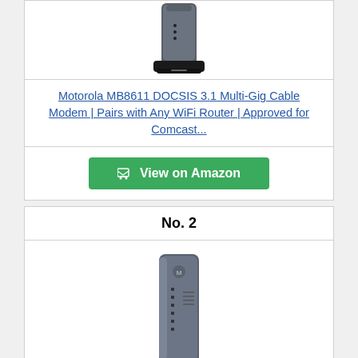[Figure (photo): Motorola cable modem device photo, top portion visible, gray/black vertical modem]
Motorola MB8611 DOCSIS 3.1 Multi-Gig Cable Modem | Pairs with Any WiFi Router | Approved for Comcast...
[Figure (other): Green 'View on Amazon' button with shopping cart icon]
No. 2
[Figure (photo): Motorola cable modem device photo, full vertical gray modem with LED indicators]